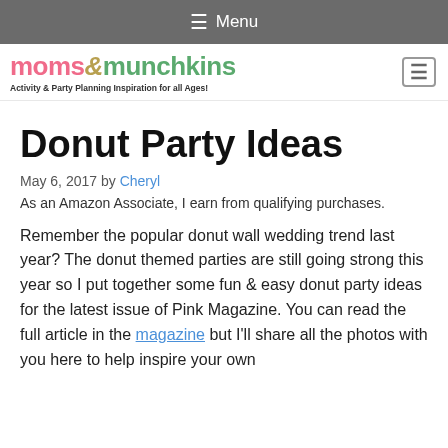≡ Menu
[Figure (logo): moms & munchkins logo with tagline 'Activity & Party Planning Inspiration for all Ages!']
Donut Party Ideas
May 6, 2017 by Cheryl
As an Amazon Associate, I earn from qualifying purchases.
Remember the popular donut wall wedding trend last year? The donut themed parties are still going strong this year so I put together some fun & easy donut party ideas for the latest issue of Pink Magazine. You can read the full article in the magazine but I'll share all the photos with you here to help inspire your own